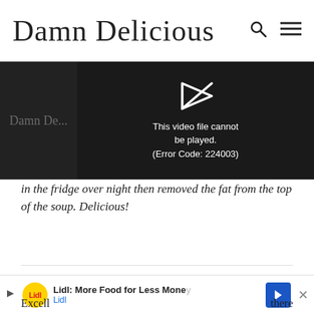Damn Delicious
[Figure (screenshot): Video player showing error message: 'This video file cannot be played. (Error Code: 224003)' on a dark background with a play icon]
in the fridge over night then removed the fat from the top of the soup. Delicious!
KELLIE — NOVEMBER 23, 2020 @ 10:37 AM  REPLY
★★★★★
Excell... there any w... arted a
[Figure (screenshot): Lidl advertisement banner: 'Lidl: More Food for Less Money' with Lidl logo and blue arrow icon]